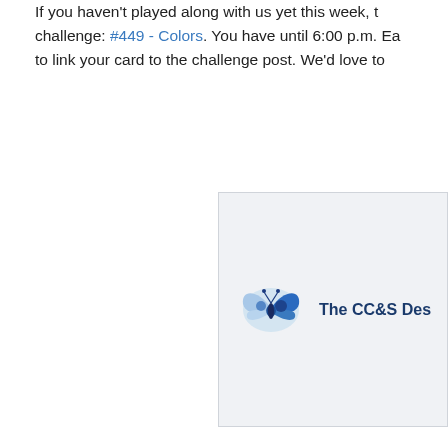If you haven't played along with us yet this week, the challenge: #449 - Colors. You have until 6:00 p.m. Ea... to link your card to the challenge post. We'd love to...
[Figure (logo): Blue butterfly logo with text 'The CC&S Des']
Posted by Patricia Hays at 12/10/2021 03:00:00 pm
Labels: Winners
Tuesday, December 07, 2021
Challenge #449 - Colors